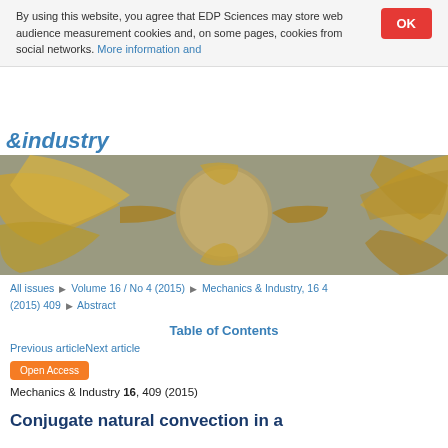By using this website, you agree that EDP Sciences may store web audience measurement cookies and, on some pages, cookies from social networks. More information and
industry
[Figure (photo): Hero banner image showing a mechanical turbine blade or impeller component rendered in gold/yellow tones against a gray background.]
All issues ▶ Volume 16 / No 4 (2015) ▶ Mechanics & Industry, 16 4 (2015) 409 ▶ Abstract
Table of Contents
Previous articleNext article
Open Access
Mechanics & Industry 16, 409 (2015)
Conjugate natural convection in a